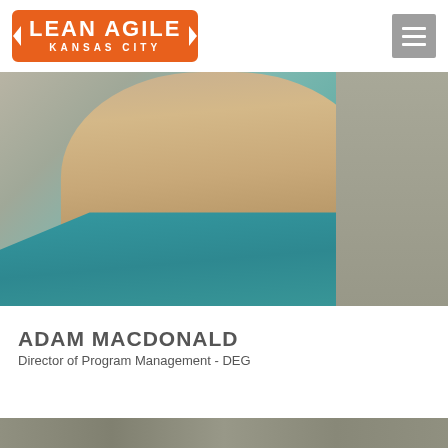LEAN AGILE KANSAS CITY
[Figure (photo): Headshot photo of Adam MacDonald, a smiling man wearing a teal/turquoise polo shirt, cropped to show face and upper torso against a blurred background]
ADAM MACDONALD
Director of Program Management - DEG
[Figure (photo): Partial view of another photo visible at the bottom of the page, appears to be a textured or crowd scene]